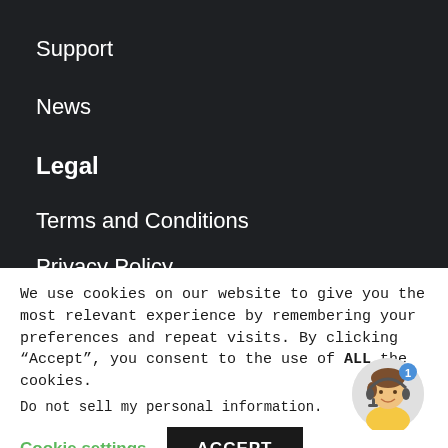Support
News
Legal
Terms and Conditions
Privacy Policy
Cookie Policy
We use cookies on our website to give you the most relevant experience by remembering your preferences and repeat visits. By clicking “Accept”, you consent to the use of ALL the cookies.
Do not sell my personal information.
Cookie settings
ACCEPT